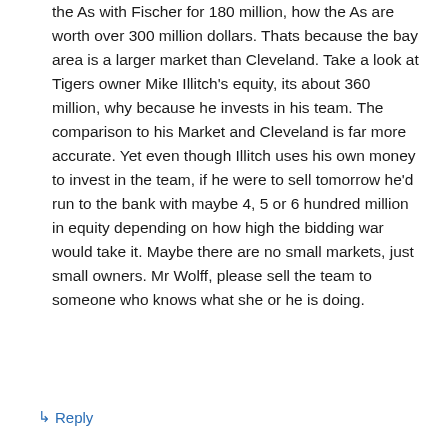the As with Fischer for 180 million, how the As are worth over 300 million dollars. Thats because the bay area is a larger market than Cleveland. Take a look at Tigers owner Mike Illitch's equity, its about 360 million, why because he invests in his team. The comparison to his Market and Cleveland is far more accurate. Yet even though Illitch uses his own money to invest in the team, if he were to sell tomorrow he'd run to the bank with maybe 4, 5 or 6 hundred million in equity depending on how high the bidding war would take it. Maybe there are no small markets, just small owners. Mr Wolff, please sell the team to someone who knows what she or he is doing.
↳ Reply